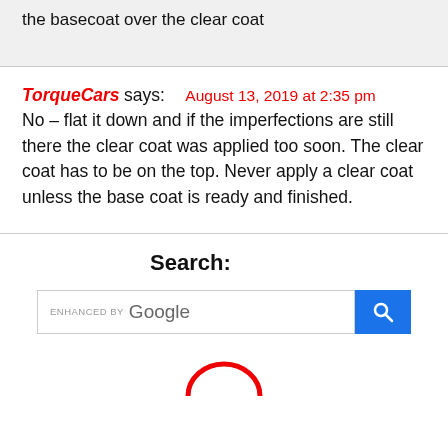the basecoat over the clear coat
TorqueCars says:
August 13, 2019 at 2:35 pm
No – flat it down and if the imperfections are still there the clear coat was applied too soon. The clear coat has to be on the top. Never apply a clear coat unless the base coat is ready and finished.
Search:
[Figure (screenshot): Google search bar with 'ENHANCED BY Google' label and a blue search button with magnifying glass icon]